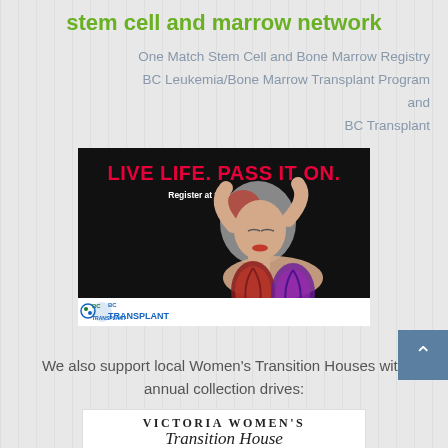stem cell and marrow network
One Match Stem Cell and Bone Marrow Registry
BC Leukemia/Bone Marrow Transplant Program
and
BC Transplant
[Figure (photo): BC Transplant advertisement showing a woman with visible lungs, with text 'LIVE LIFE. PASS IT ON.' and 'Register at transplant.bc.ca']
***
We also support local Women's Transition Houses with annual collection drives:
[Figure (logo): Victoria Women's logo/header (partially visible)]